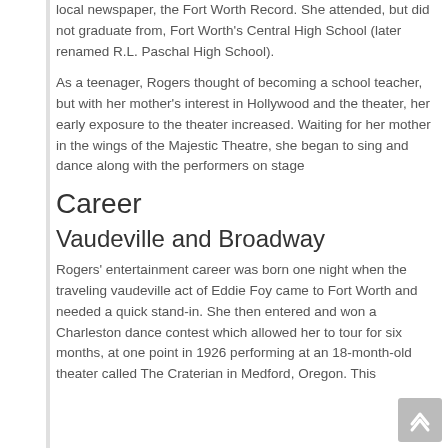local newspaper, the Fort Worth Record. She attended, but did not graduate from, Fort Worth's Central High School (later renamed R.L. Paschal High School).
As a teenager, Rogers thought of becoming a school teacher, but with her mother's interest in Hollywood and the theater, her early exposure to the theater increased. Waiting for her mother in the wings of the Majestic Theatre, she began to sing and dance along with the performers on stage
Career
Vaudeville and Broadway
Rogers' entertainment career was born one night when the traveling vaudeville act of Eddie Foy came to Fort Worth and needed a quick stand-in. She then entered and won a Charleston dance contest which allowed her to tour for six months, at one point in 1926 performing at an 18-month-old theater called The Craterian in Medford, Oregon. This theater has been known to be a classic in its...